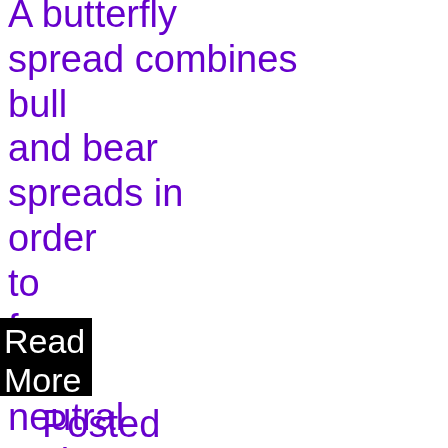A butterfly spread combines bull and bear spreads in order to form a neutral options strategy.
Read More
Posted By :